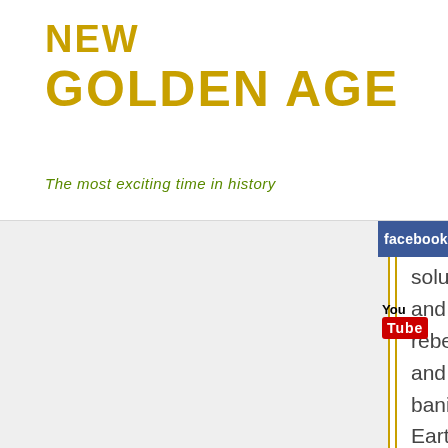NEW
GOLDEN AGE
The most exciting time in history
but who thought the best solution was to call home and get help. There was a rebellion, a war in heaven, and the scientists were banished to the surface of Earth, to survive without technology. They are what humanity now knows as the fallen Angels.
[Figure (logo): Facebook logo badge — blue rectangle with white 'facebook' text]
[Figure (logo): YouTube logo — 'You' text above red 'Tube' badge]